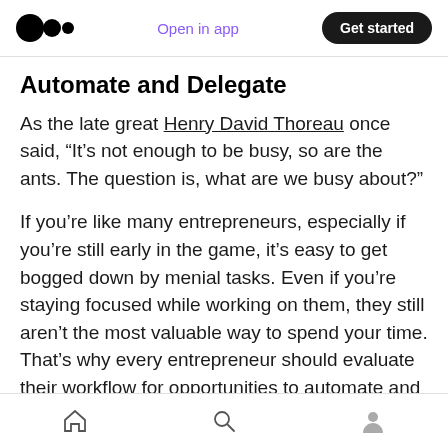Medium logo | Open in app | Get started
Automate and Delegate
As the late great Henry David Thoreau once said, “It’s not enough to be busy, so are the ants. The question is, what are we busy about?”
If you’re like many entrepreneurs, especially if you’re still early in the game, it’s easy to get bogged down by menial tasks. Even if you’re staying focused while working on them, they still aren’t the most valuable way to spend your time. That’s why every entrepreneur should evaluate their workflow for opportunities to automate and
Home | Search | Profile